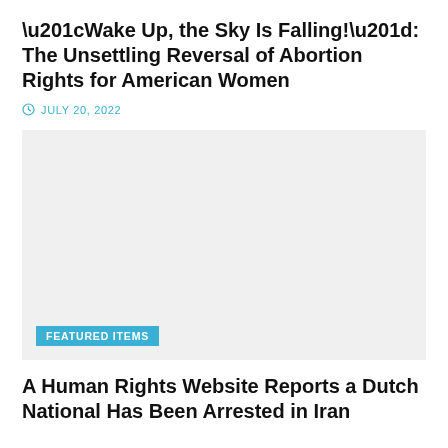“Wake Up, the Sky Is Falling!”: The Unsettling Reversal of Abortion Rights for American Women
JULY 20, 2022
[Figure (photo): Large image placeholder with light gray background and a 'FEATURED ITEMS' label badge in cyan at the bottom left]
A Human Rights Website Reports a Dutch National Has Been Arrested in Iran